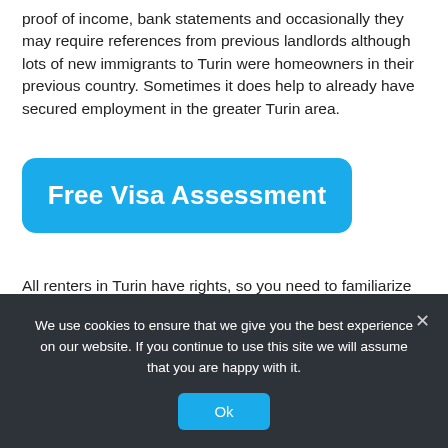proof of income, bank statements and occasionally they may require references from previous landlords although lots of new immigrants to Turin were homeowners in their previous country. Sometimes it does help to already have secured employment in the greater Turin area.
[Figure (other): A blue rounded rectangle button labeled 'Free Visa Assessment' in bold white text]
All renters in Turin have rights, so you need to familiarize yourself with those rights before you sign any agreement. Thankfully there are a number of Organizations set up in Turin to help. These are called Newcomer services and a list of these can be found here: newcomer service
We use cookies to ensure that we give you the best experience on our website. If you continue to use this site we will assume that you are happy with it. Ok